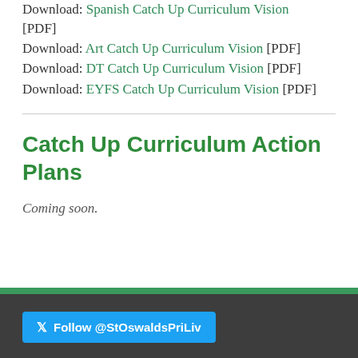Download: Spanish Catch Up Curriculum Vision [PDF]
Download: Art Catch Up Curriculum Vision [PDF]
Download: DT Catch Up Curriculum Vision [PDF]
Download: EYFS Catch Up Curriculum Vision [PDF]
Catch Up Curriculum Action Plans
Coming soon.
Follow @StOswaldsPriLiv